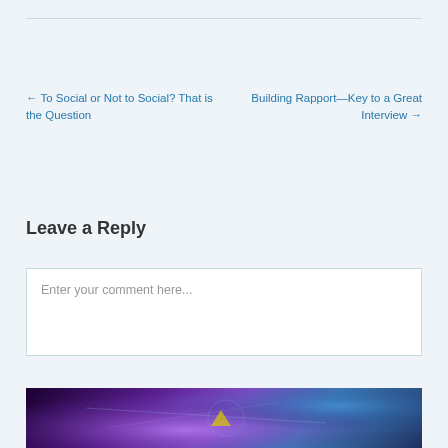← To Social or Not to Social? That is the Question
Building Rapport—Key to a Great Interview →
Leave a Reply
Enter your comment here...
[Figure (photo): Person touching a glowing futuristic touchscreen interface with purple and blue light effects]